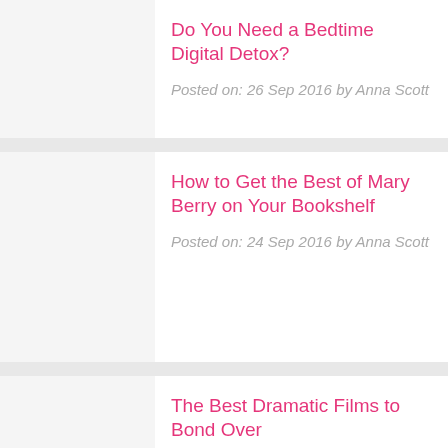Do You Need a Bedtime Digital Detox?
Posted on: 26 Sep 2016 by Anna Scott
How to Get the Best of Mary Berry on Your Bookshelf
Posted on: 24 Sep 2016 by Anna Scott
The Best Dramatic Films to Bond Over
Posted on: 23 Sep 2016 by Anna